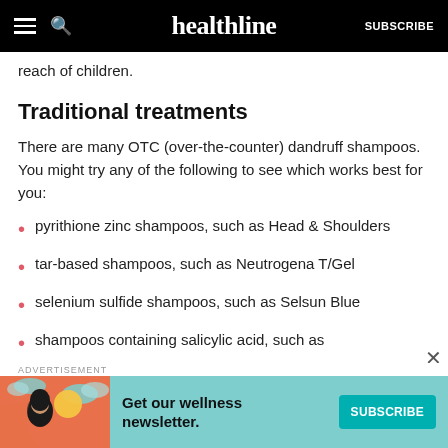healthline  SUBSCRIBE
reach of children.
Traditional treatments
There are many OTC (over-the-counter) dandruff shampoos. You might try any of the following to see which works best for you:
pyrithione zinc shampoos, such as Head & Shoulders
tar-based shampoos, such as Neutrogena T/Gel
selenium sulfide shampoos, such as Selsun Blue
shampoos containing salicylic acid, such as
[Figure (infographic): Advertisement banner for Healthline wellness newsletter with teal background, illustrated woman with dark hair, text 'Get our wellness newsletter.' and teal SUBSCRIBE button]